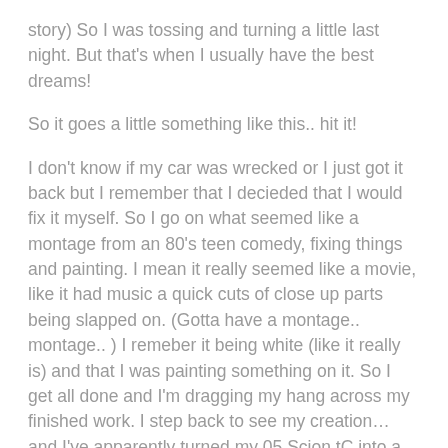story) So I was tossing and turning a little last night. But that's when I usually have the best dreams!
So it goes a little something like this.. hit it!
I don't know if my car was wrecked or I just got it back but I remember that I decieded that I would fix it myself. So I go on what seemed like a montage from an 80's teen comedy, fixing things and painting. I mean it really seemed like a movie, like it had music a quick cuts of close up parts being slapped on. (Gotta have a montage.. montage.. ) I remeber it being white (like it really is) and that I was painting something on it. So I get all done and I'm dragging my hang across my finished work. I step back to see my creation… and I've apparently turned my 05 Scion tC into a beat old El Camino. With blue curly things painted on it and